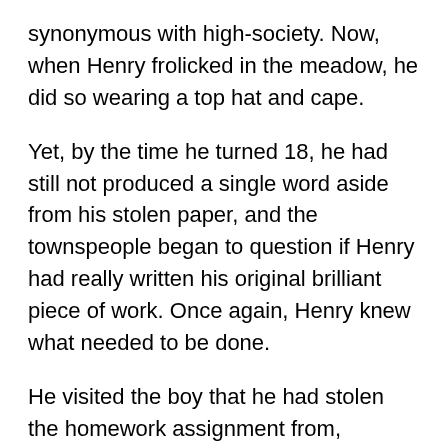synonymous with high-society. Now, when Henry frolicked in the meadow, he did so wearing a top hat and cape.
Yet, by the time he turned 18, he had still not produced a single word aside from his stolen paper, and the townspeople began to question if Henry had really written his original brilliant piece of work. Once again, Henry knew what needed to be done.
He visited the boy that he had stolen the homework assignment from, confessed his act, and offered to pay the boy 50 guilders to write something, anything, that Henry could put his name on. But the boy, being much brighter than Henry, made a counter offer: pay 100 guilders or he would tell everyone that Henry was a fraud.
That night, Henry quietly rummaged through his family members' belongings in an effort to gather 100 guildings